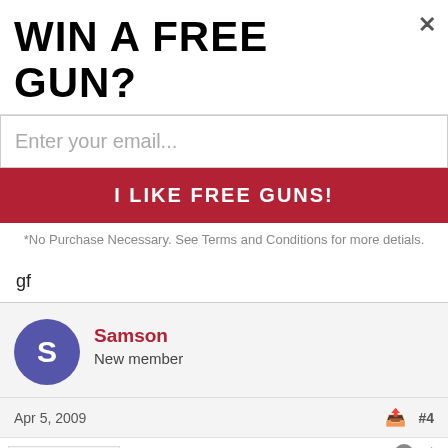WIN A FREE GUN?
Enter your email...
I LIKE FREE GUNS!
*No Purchase Necessary. See Terms and Conditions for more detials.
gf
Samson
New member
Apr 5, 2009
#4
[Figure (screenshot): Bottom advertisement banner for Nike. Just Do It with image, text, close button, and arrow button]